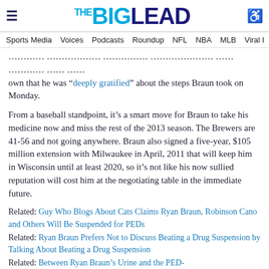THE BIG LEAD
Sports Media | Voices | Podcasts | Roundup | NFL | NBA | MLB | Viral I...
... that he was "deeply gratified" about the steps Braun took on Monday.
From a baseball standpoint, it's a smart move for Braun to take his medicine now and miss the rest of the 2013 season. The Brewers are 41-56 and not going anywhere. Braun also signed a five-year, $105 million extension with Milwaukee in April, 2011 that will keep him in Wisconsin until at least 2020, so it's not like his now sullied reputation will cost him at the negotiating table in the immediate future.
Related: Guy Who Blogs About Cats Claims Ryan Braun, Robinson Cano and Others Will Be Suspended for PEDs
Related: Ryan Braun Prefers Not to Discuss Beating a Drug Suspension by Talking About Beating a Drug Suspension
Related: Between Ryan Braun's Urine and the PED-